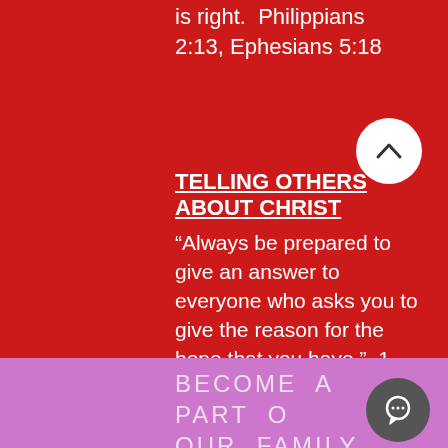is right.  Philippians  2:13, Ephesians 5:18
TELLING OTHERS ABOUT CHRIST
“Always be prepared to give an answer to everyone who asks you to give the reason for the hope that you have.”  1 Peter 3:15
It is the responsibility of every Christian to share the Good News with those with whom God brings us into contact.  We practice personal sharing about Christ and inviting friends to church.
BECOME A PART OF OUR FAMILY